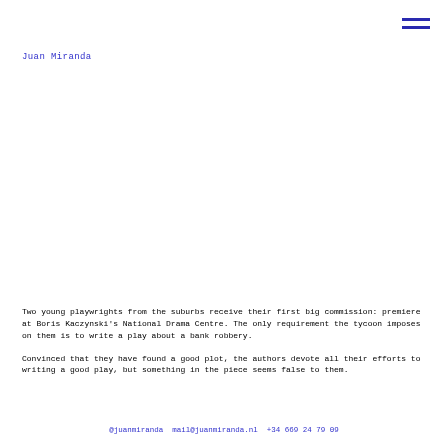Juan Miranda
Two young playwrights from the suburbs receive their first big commission: premiere at Boris Kaczynski's National Drama Centre. The only requirement the tycoon imposes on them is to write a play about a bank robbery.

Convinced that they have found a good plot, the authors devote all their efforts to writing a good play, but something in the piece seems false to them.
@juanmiranda  mail@juanmiranda.nl  +34 669 24 79 09